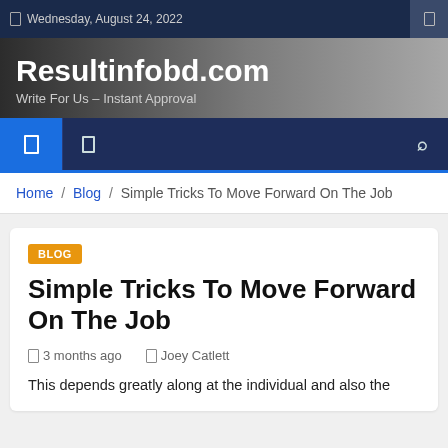Wednesday, August 24, 2022
Resultinfobd.com
Write For Us – Instant Approval
Home / Blog / Simple Tricks To Move Forward On The Job
BLOG
Simple Tricks To Move Forward On The Job
3 months ago   Joey Catlett
This depends greatly along at the individual and also the